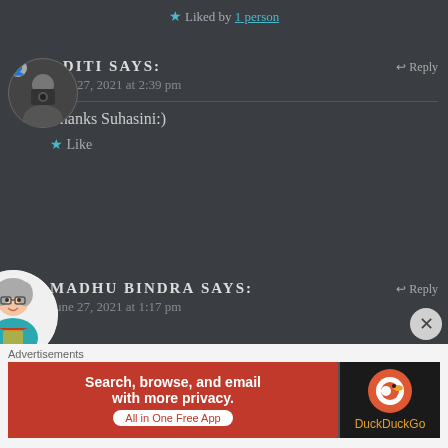★ Liked by 1 person
ADITI says: ↩ Reply
June 27, 2021 at 2:39 pm
Thanks Suhasini:)
★ Like
MADHU BINDRA says: ↩ Reply
June 27, 2021 at 1:17 pm
Advertisements
[Figure (screenshot): DuckDuckGo advertisement banner: 'Search, browse, and email with more privacy. All in One Free App' with DuckDuckGo logo on dark background]